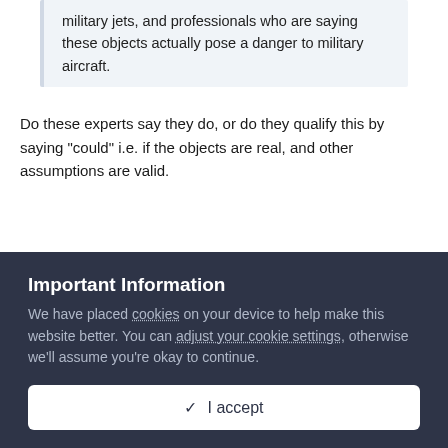military jets, and professionals who are saying these objects actually pose a danger to military aircraft.
Do these experts say they do, or do they qualify this by saying "could" i.e. if the objects are real, and other assumptions are valid.
(Linking to your sources would be helpful when you paraphrase what others say)
On 5/21/2022 at 12:53 AM, Moontanman said:
Important Information
We have placed cookies on your device to help make this website better. You can adjust your cookie settings, otherwise we'll assume you're okay to continue.
✓  I accept